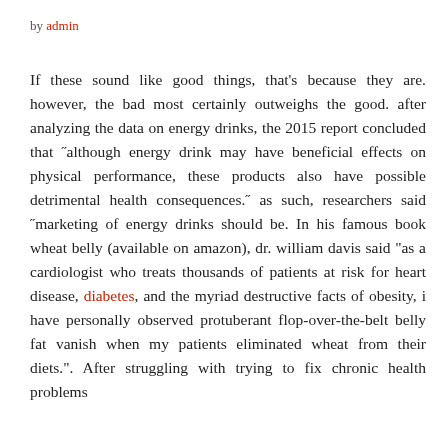by admin
If these sound like good things, that's because they are. however, the bad most certainly outweighs the good. after analyzing the data on energy drinks, the 2015 report concluded that "although energy drink may have beneficial effects on physical performance, these products also have possible detrimental health consequences." as such, researchers said "marketing of energy drinks should be. In his famous book wheat belly (available on amazon), dr. william davis said "as a cardiologist who treats thousands of patients at risk for heart disease, diabetes, and the myriad destructive facts of obesity, i have personally observed protuberant flop-over-the-belt belly fat vanish when my patients eliminated wheat from their diets.". After struggling with trying to fix chronic health problems